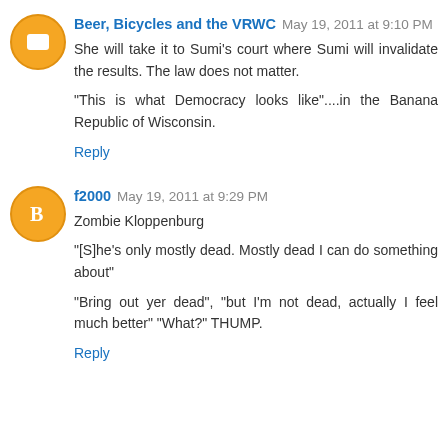Beer, Bicycles and the VRWC May 19, 2011 at 9:10 PM
She will take it to Sumi's court where Sumi will invalidate the results. The law does not matter.
"This is what Democracy looks like"....in the Banana Republic of Wisconsin.
Reply
f2000 May 19, 2011 at 9:29 PM
Zombie Kloppenburg
"[S]he's only mostly dead. Mostly dead I can do something about"
"Bring out yer dead", "but I'm not dead, actually I feel much better" "What?" THUMP.
Reply